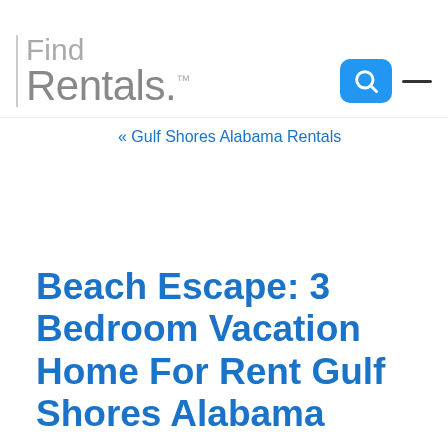Find Rentals
« Gulf Shores Alabama Rentals
Beach Escape: 3 Bedroom Vacation Home For Rent Gulf Shores Alabama